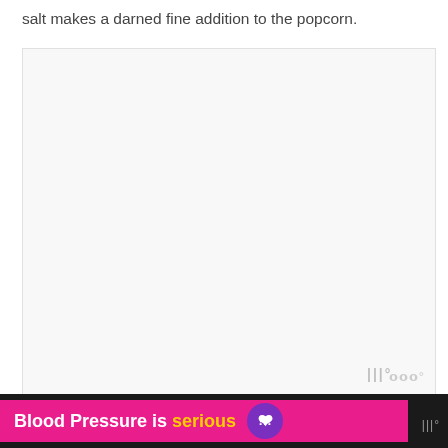salt makes a darned fine addition to the popcorn.
[Figure (photo): Large white/light grey image placeholder area with a faint watermark logo in bottom right corner]
Oh, and just one last thing. If you are looking for a good w
[Figure (infographic): Pink advertisement banner reading 'Blood Pressure is serious' with a purple/pink heart icon with exclamation marks, on a dark background]